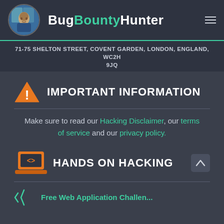BugBountyHunter
71-75 SHELTON STREET, COVENT GARDEN, LONDON, ENGLAND, WC2H 9JQ
IMPORTANT INFORMATION
Make sure to read our Hacking Disclaimer, our terms of service and our privacy policy.
HANDS ON HACKING